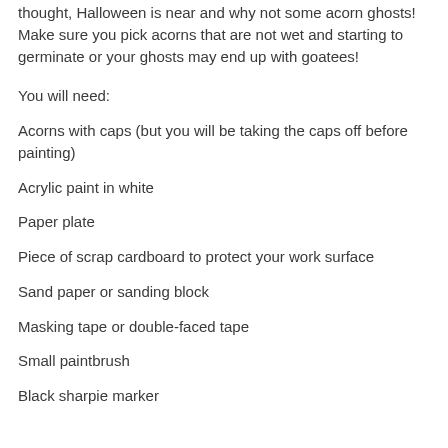thought, Halloween is near and why not some acorn ghosts! Make sure you pick acorns that are not wet and starting to germinate or your ghosts may end up with goatees!
You will need:
Acorns with caps (but you will be taking the caps off before painting)
Acrylic paint in white
Paper plate
Piece of scrap cardboard to protect your work surface
Sand paper or sanding block
Masking tape or double-faced tape
Small paintbrush
Black sharpie marker